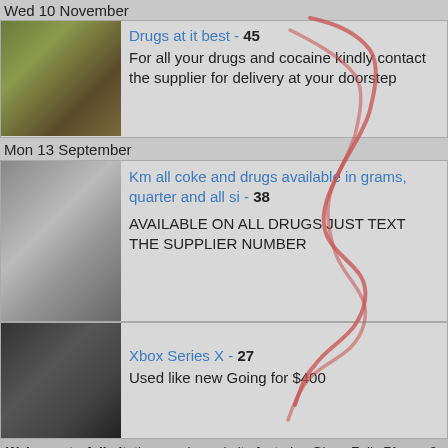Wed 10 November
Drugs at it best - 45
For all your drugs and cocaine kindly contact the supplier for delivery at your doorstep
Mon 13 September
Km all coke and drugs available in grams, quarter and all si - 38
AVAILABLE ON ALL DRUGS JUST TEXT THE SUPPLIER NUMBER
Glens Falls, Phone & Websites
Xbox Series X - 27
Used like new Going for $400
Welcome to Adbalt, the premier website featuring Glens Falls Phone & Websites, sensual massage, and reviews for providers in your area. Feel free to look around,
– create a free user, and create a listing if you're a provider
Thu 09 September